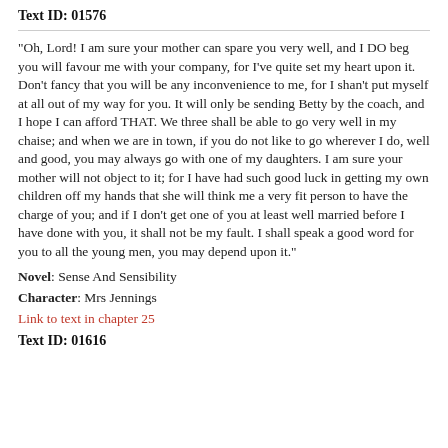Text ID: 01576
"Oh, Lord! I am sure your mother can spare you very well, and I DO beg you will favour me with your company, for I've quite set my heart upon it. Don't fancy that you will be any inconvenience to me, for I shan't put myself at all out of my way for you. It will only be sending Betty by the coach, and I hope I can afford THAT. We three shall be able to go very well in my chaise; and when we are in town, if you do not like to go wherever I do, well and good, you may always go with one of my daughters. I am sure your mother will not object to it; for I have had such good luck in getting my own children off my hands that she will think me a very fit person to have the charge of you; and if I don't get one of you at least well married before I have done with you, it shall not be my fault. I shall speak a good word for you to all the young men, you may depend upon it."
Novel: Sense And Sensibility
Character: Mrs Jennings
Link to text in chapter 25
Text ID: 01616